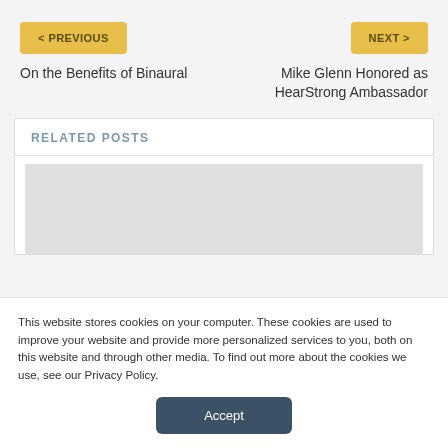< PREVIOUS
NEXT >
On the Benefits of Binaural
Mike Glenn Honored as HearStrong Ambassador
RELATED POSTS
[Figure (photo): Placeholder image area for related post thumbnail]
This website stores cookies on your computer. These cookies are used to improve your website and provide more personalized services to you, both on this website and through other media. To find out more about the cookies we use, see our Privacy Policy.
Accept